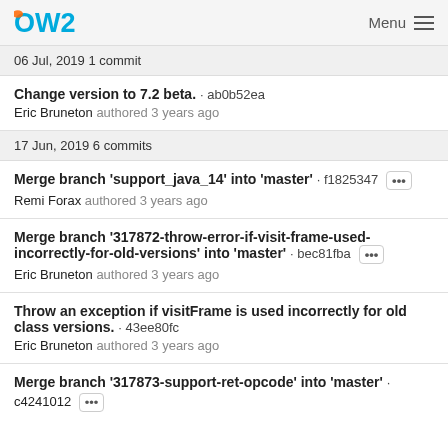OW2 Menu
06 Jul, 2019 1 commit
Change version to 7.2 beta. · ab0b52ea
Eric Bruneton authored 3 years ago
17 Jun, 2019 6 commits
Merge branch 'support_java_14' into 'master' · f1825347
Remi Forax authored 3 years ago
Merge branch '317872-throw-error-if-visit-frame-used-incorrectly-for-old-versions' into 'master' · bec81fba
Eric Bruneton authored 3 years ago
Throw an exception if visitFrame is used incorrectly for old class versions. · 43ee80fc
Eric Bruneton authored 3 years ago
Merge branch '317873-support-ret-opcode' into 'master' · c4241012